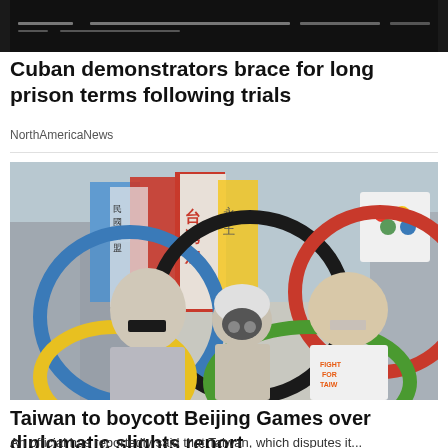[Figure (photo): Dark top photo strip with gray lines, partially visible protest/crowd scene]
Cuban demonstrators brace for long prison terms following trials
NorthAmericaNews
[Figure (photo): Protesters holding colorful Olympic-ring-style hoops with masks over their mouths, with Taiwanese flags in the background]
Taiwan to boycott Beijing Games over diplomatic slights report
An official has reportedly said that Taiwan, which disputes it...